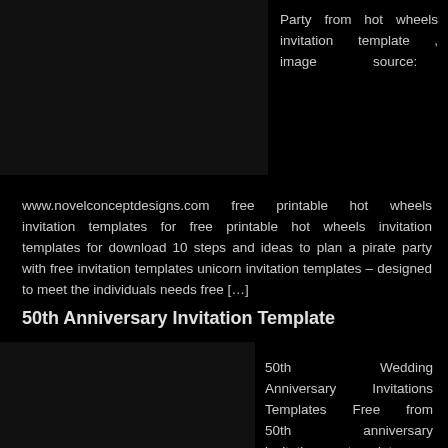Party from hot wheels invitation template , image source:
www.novelconceptdesigns.com free printable hot wheels invitation templates for free printable hot wheels invitation templates for download 10 steps and ideas to plan a pirate party with free invitation templates unicorn invitation templates – designed to meet the individuals needs free […]
50th Anniversary Invitation Template
50th Wedding Anniversary Invitations Templates Free from 50th anniversary invitation template , image source: